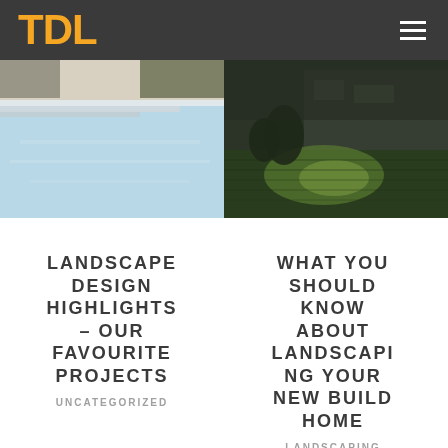TDL
[Figure (photo): Swimming pool with light blue water and white pool edge/steps, outdoor modern design]
[Figure (photo): Close-up of lush green lawn grass with dramatic lighting, house in background]
LANDSCAPE DESIGN HIGHLIGHTS – OUR FAVOURITE PROJECTS
UNCATEGORIZED
WHAT YOU SHOULD KNOW ABOUT LANDSCAPING YOUR NEW BUILD HOME
LANDSCAPING